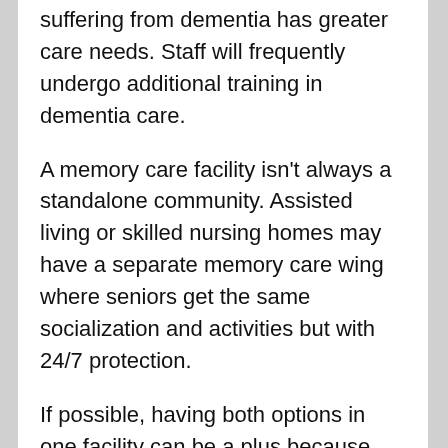suffering from dementia has greater care needs. Staff will frequently undergo additional training in dementia care.
A memory care facility isn't always a standalone community. Assisted living or skilled nursing homes may have a separate memory care wing where seniors get the same socialization and activities but with 24/7 protection.
If possible, having both options in one facility can be a plus because the person can start in a less restrictive type of setting in assisted living with the option to transition to memory care as needs, abilities and interests are changed by the condition.